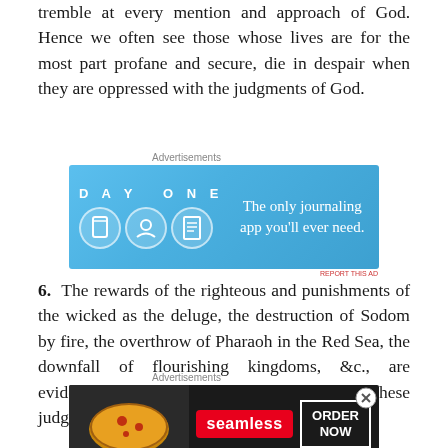tremble at every mention and approach of God. Hence we often see those whose lives are for the most part profane and secure, die in despair when they are oppressed with the judgments of God.
[Figure (screenshot): Advertisement banner for Day One journaling app with blue background, app icons, and text 'The only journaling app you'll ever need.']
6. The rewards of the righteous and punishments of the wicked as the deluge, the destruction of Sodom by fire, the overthrow of Pharaoh in the Red Sea, the downfall of flourishing kingdoms, &c., are evidences of the existence of a God; for these judgments which
[Figure (screenshot): Advertisement banner for Seamless food delivery with pizza image, Seamless logo, and ORDER NOW button on dark background.]